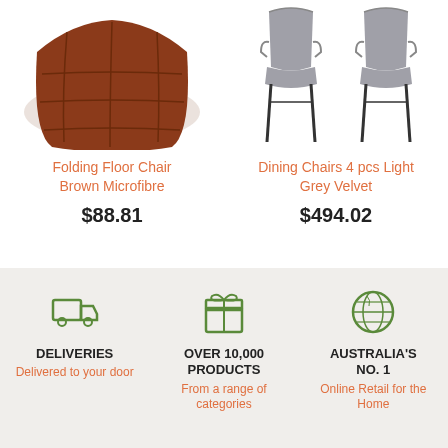[Figure (photo): Folding floor chair in brown microfibre, partially cropped at top]
Folding Floor Chair Brown Microfibre
$88.81
[Figure (photo): Two dining chairs in light grey velvet with black legs, partially cropped at top]
Dining Chairs 4 pcs Light Grey Velvet
$494.02
DELIVERIES
Delivered to your door
OVER 10,000 PRODUCTS
From a range of categories
AUSTRALIA'S NO. 1
Online Retail for the Home